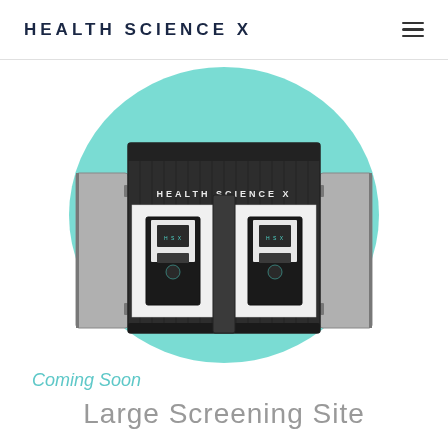HEALTH SCIENCE X
[Figure (illustration): Health Science X branded mobile screening unit: a dark shipping container with doors open revealing two medical kiosks with health science X branding, set against a teal circular background graphic]
Coming Soon
Large Screening Site